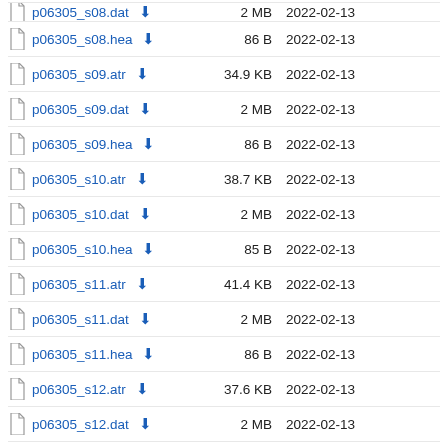p06305_s08.dat  2 MB  2022-02-13
p06305_s08.hea  86 B  2022-02-13
p06305_s09.atr  34.9 KB  2022-02-13
p06305_s09.dat  2 MB  2022-02-13
p06305_s09.hea  86 B  2022-02-13
p06305_s10.atr  38.7 KB  2022-02-13
p06305_s10.dat  2 MB  2022-02-13
p06305_s10.hea  85 B  2022-02-13
p06305_s11.atr  41.4 KB  2022-02-13
p06305_s11.dat  2 MB  2022-02-13
p06305_s11.hea  86 B  2022-02-13
p06305_s12.atr  37.6 KB  2022-02-13
p06305_s12.dat  2 MB  2022-02-13
p06305_s12.hea  87 B  2022-02-13